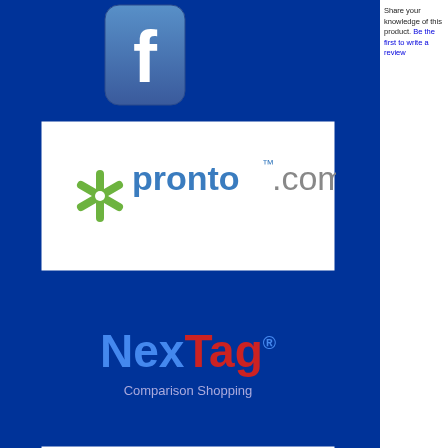Share your knowledge of this product. Be the first to write a review
[Figure (logo): Facebook logo button - blue rounded square with white F]
[Figure (logo): Pronto.com logo - green asterisk/star with blue Pronto.com text]
[Figure (logo): NexTag Comparison Shopping logo - blue Nex red Tag with tagline]
[Figure (logo): DealTime logo - blue circular arrow icon with DealTime text]
[Figure (logo): Low Price Guarantee badge - yellow circle with pink/magenta text]
[Figure (photo): Customer service banner with woman wearing headset]
About Us • Become an Affiliate • Pr... • Contact Us • Advertise • Copyright 2012
Chiavari Chairs Direct